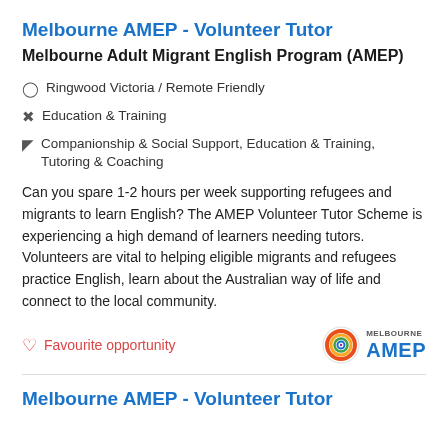Melbourne AMEP - Volunteer Tutor
Melbourne Adult Migrant English Program (AMEP)
Ringwood Victoria / Remote Friendly
Education & Training
Companionship & Social Support, Education & Training, Tutoring & Coaching
Can you spare 1-2 hours per week supporting refugees and migrants to learn English? The AMEP Volunteer Tutor Scheme is experiencing a high demand of learners needing tutors. Volunteers are vital to helping eligible migrants and refugees practice English, learn about the Australian way of life and connect to the local community.
Favourite opportunity
[Figure (logo): Melbourne AMEP circular logo with colorful rings]
Melbourne AMEP - Volunteer Tutor